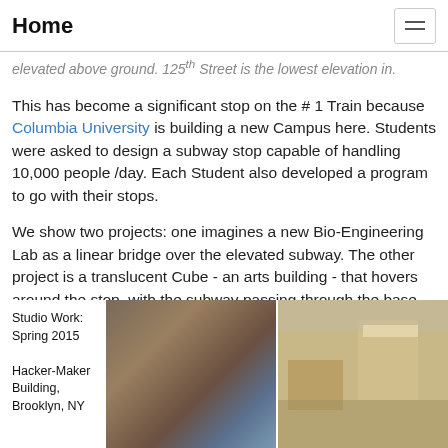Home
elevated above ground.  125th Street is the lowest elevation in.
This has become a significant stop on the # 1 Train because Columbia University is building a new Campus here.  Students were asked to design a subway stop capable of handling 10,000 people /day.  Each Student also developed a program to go with their stops.
We show two projects:  one imagines a new Bio-Engineering Lab as a linear bridge over the elevated subway.  The other project is a translucent Cube -  an arts building -  that hovers around the stop, with the subway passing through the base.
Studio Work: Spring 2015

Hacker-Maker Building, Brooklyn, NY
[Figure (photo): Two architectural renderings side by side showing a subway stop design - left image shows a blurred interior/exterior view of the structure, right image shows a translucent cube-like structure with wooden elements]
[Figure (photo): Architectural rendering of a building with roof cracks filled with Fractal Crystals, showing where 2 systems meet: Fractal and Regular Geometry. The image shows an exterior view with geometric roof elements.]